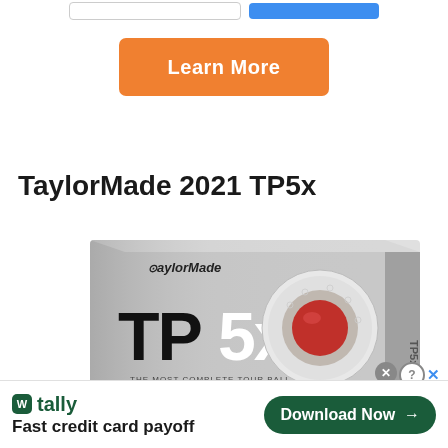[Figure (screenshot): Top bar with a text input box and a blue button, partially visible at the top of the page]
[Figure (screenshot): Orange 'Learn More' button centered on white background]
TaylorMade 2021 TP5x
[Figure (photo): TaylorMade TP5x golf ball box showing the TP5x branding with a golf ball cross-section revealing a red core, and TaylorMade logo at top]
[Figure (screenshot): Advertisement banner for Tally app - 'Fast credit card payoff' with green Download Now button and close/help icons]